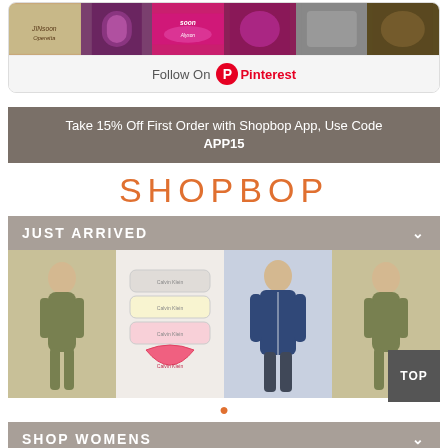[Figure (screenshot): Pinterest nail polish photo grid showing JINsoon Operetta and other nail polish colors]
Follow On Pinterest
Take 15% Off First Order with Shopbop App, Use Code APP15
SHOPBOP
JUST ARRIVED
[Figure (photo): Product images showing women's jumpsuits, Calvin Klein underwear, and men's denim shirt]
SHOP WOMENS